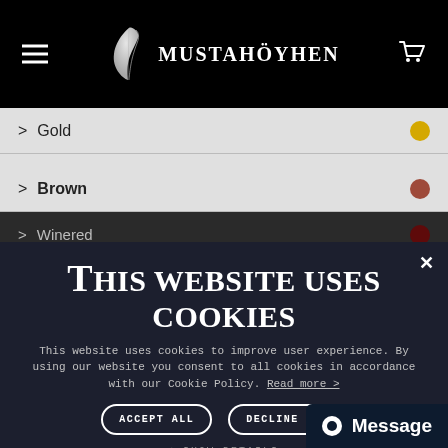MUSTAHÖYHEN
> Gold
> Brown
> Winered
> Red
> Purple
> Beige
> Blue
> Navy
This website uses cookies
This website uses cookies to improve user experience. By using our website you consent to all cookies in accordance with our Cookie Policy. Read more >
ACCEPT ALL  DECLINE ALL
SHOW DETAILS
POWERED BY COOKIESCRIP
Message